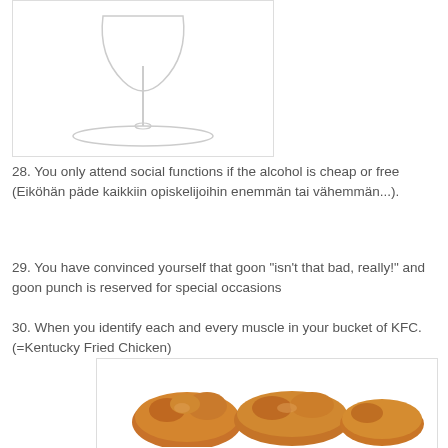[Figure (photo): A clear wine glass with a long stem on a white background]
28. You only attend social functions if the alcohol is cheap or free (Eiköhän päde kaikkiin opiskelijoihin enemmän tai vähemmän...).
29. You have convinced yourself that goon "isn't that bad, really!" and goon punch is reserved for special occasions
30. When you identify each and every muscle in your bucket of KFC. (=Kentucky Fried Chicken)
[Figure (photo): A bucket of KFC fried chicken pieces]